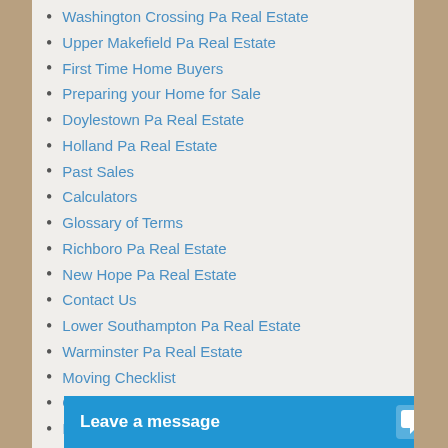Washington Crossing Pa Real Estate
Upper Makefield Pa Real Estate
First Time Home Buyers
Preparing your Home for Sale
Doylestown Pa Real Estate
Holland Pa Real Estate
Past Sales
Calculators
Glossary of Terms
Richboro Pa Real Estate
New Hope Pa Real Estate
Contact Us
Lower Southampton Pa Real Estate
Warminster Pa Real Estate
Moving Checklist
Get an FHA loan
Is now the right time to sell?
Bucks County Real Estate
Bristol Pa
Warrington Pa Real Estate
Feasterville Pa Re...
Morrisville Pa Rea...
Leave a message